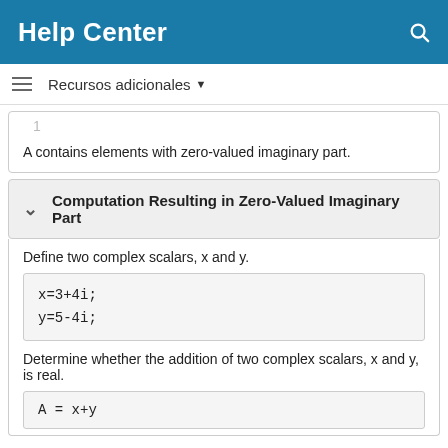Help Center
Recursos adicionales
A contains elements with zero-valued imaginary part.
Computation Resulting in Zero-Valued Imaginary Part
Define two complex scalars, x and y.
Determine whether the addition of two complex scalars, x and y, is real.